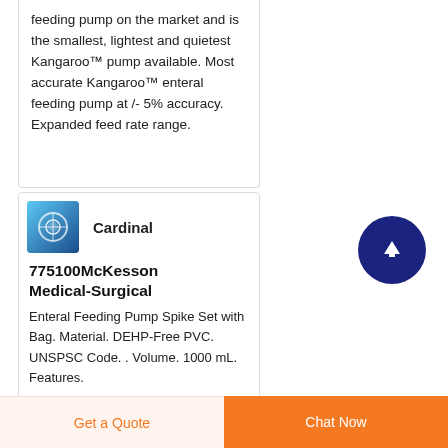feeding pump on the market and is the smallest, lightest and quietest Kangaroo™ pump available. Most accurate Kangaroo™ enteral feeding pump at /- 5% accuracy. Expanded feed rate range.
[Figure (logo): Blue gradient square logo with circular design element]
Cardinal
775100McKesson Medical-Surgical
Enteral Feeding Pump Spike Set with Bag. Material. DEHP-Free PVC. UNSPSC Code. . Volume. 1000 mL. Features.
Get a Quote
Chat Now